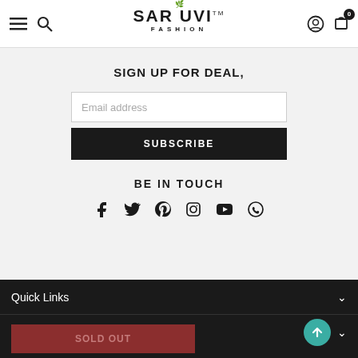Saruvi Fashion - Header with navigation icons and logo
SIGN UP FOR DEAL,
Email address
SUBSCRIBE
BE IN TOUCH
[Figure (other): Social media icons row: Facebook, Twitter, Pinterest, Instagram, YouTube, WhatsApp]
Quick Links
Quick Shop
SOLD OUT